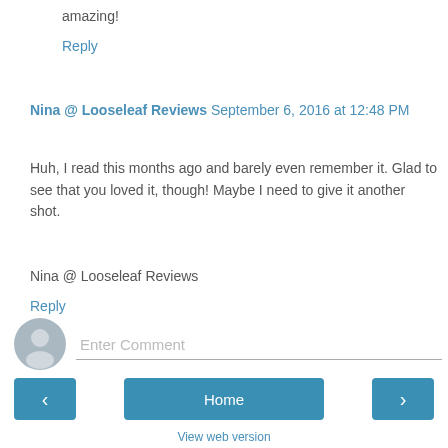amazing!
Reply
Nina @ Looseleaf Reviews  September 6, 2016 at 12:48 PM
Huh, I read this months ago and barely even remember it. Glad to see that you loved it, though! Maybe I need to give it another shot.
Nina @ Looseleaf Reviews
Reply
[Figure (other): User avatar placeholder icon — grey circular avatar with silhouette figure]
Enter Comment
‹
Home
›
View web version